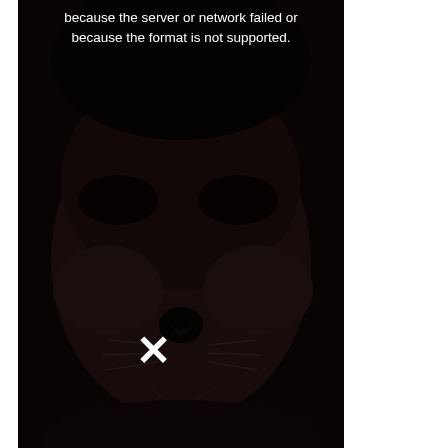[Figure (photo): A dark photo of a person's face with a cat filter applied (cat nose and whiskers visible), with a browser image error overlay showing an X mark and the text 'because the server or network failed or because the format is not supported.' in white text at the top.]